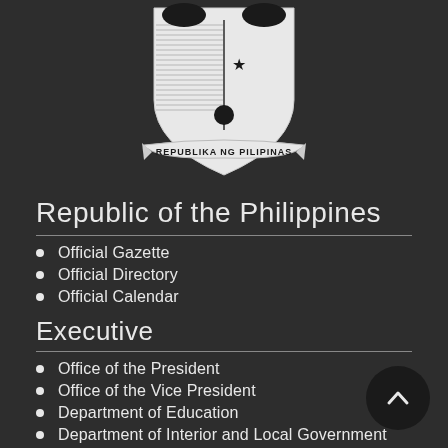[Figure (logo): Seal of the Republic of the Philippines - coat of arms with text 'REPUBLIKA NG PILIPINAS' on banner]
Republic of the Philippines
Official Gazette
Official Directory
Official Calendar
Executive
Office of the President
Office of the Vice President
Department of Education
Department of Interior and Local Government
Department of Finance
Department of Health